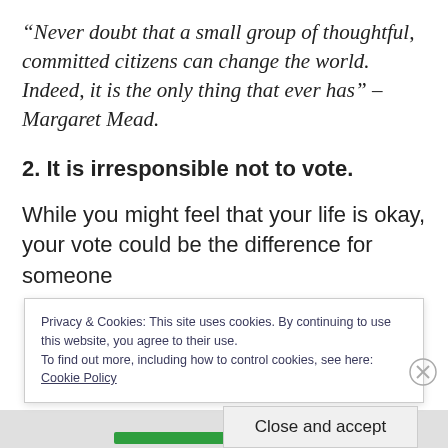“Never doubt that a small group of thoughtful, committed citizens can change the world. Indeed, it is the only thing that ever has” – Margaret Mead.
2. It is irresponsible not to vote.
While you might feel that your life is okay, your vote could be the difference for someone
Privacy & Cookies: This site uses cookies. By continuing to use this website, you agree to their use.
To find out more, including how to control cookies, see here:
Cookie Policy
Close and accept